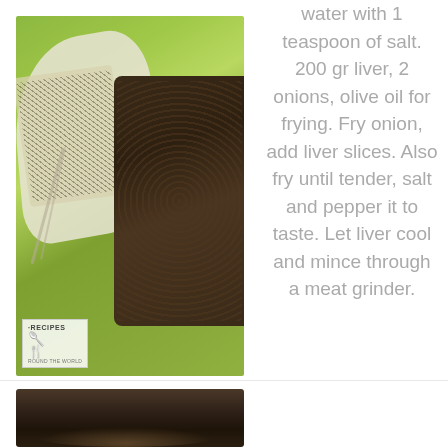[Figure (photo): Photo of ingredients on a plate: cheese with poppy seeds, ground dark spice/seed mixture, green bag in background. Logo overlay reads 'RECIPES ROUND THE WORLD'.]
water with 1 teaspoon of salt. 200 gr liver, 2 onions, olive oil for frying. Fry onion, add liver slices. Also fry until tender, salt and pepper it to taste. Let liver cool and mince through a meat grinder.
[Figure (photo): Photo of a dark cooking pot or pan, bottom portion visible.]